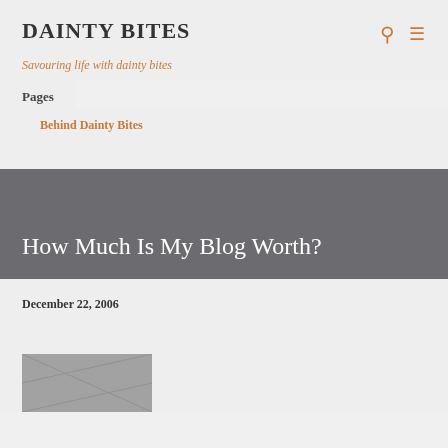DAINTY BITES
Savouring life with dainty bites
Pages
Behind Dainty Bites
How Much Is My Blog Worth?
December 22, 2006
[Figure (photo): Partially visible photo at bottom of page]